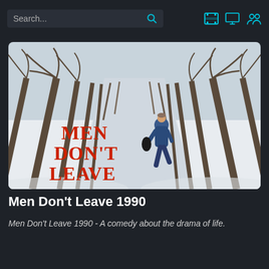Search...
[Figure (photo): Movie poster for Men Don't Leave 1990. Shows a snowy winter road lined with bare trees creating a tunnel effect. A person in a blue jacket runs down the road away from the viewer. Large red serif text reads MEN DON'T LEAVE overlaid on the lower left of the image.]
Men Don't Leave 1990
Men Don't Leave 1990 - A comedy about the drama of life.